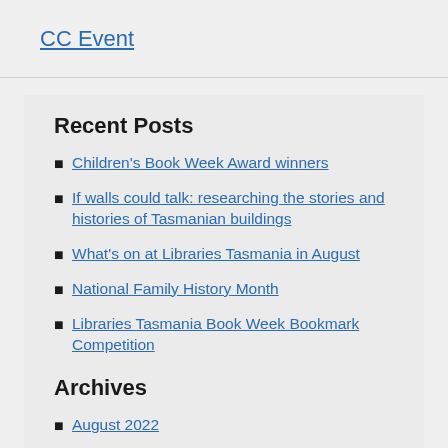CC Event
Recent Posts
Children's Book Week Award winners
If walls could talk: researching the stories and histories of Tasmanian buildings
What's on at Libraries Tasmania in August
National Family History Month
Libraries Tasmania Book Week Bookmark Competition
Archives
August 2022
July 2022
June 2022